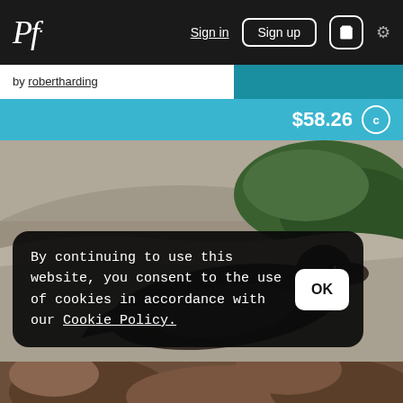Pf. | Sign in | Sign up | cart | settings
by robertharding
$58.26
[Figure (photo): A sea lion resting on a rocky surface, photographed from the side. Rocky substrate with green algae visible in the background.]
By continuing to use this website, you consent to the use of cookies in accordance with our Cookie Policy.
[Figure (photo): Partial view of another animal at the bottom of the page, brown coloring visible.]